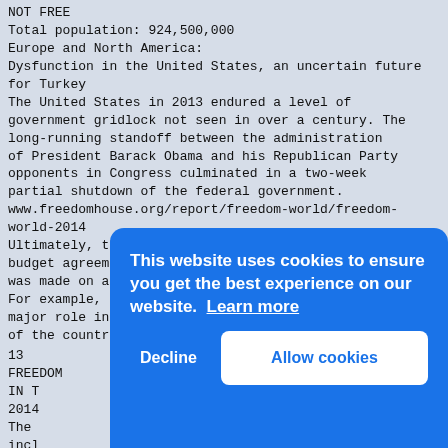NOT FREE
Total population: 924,500,000
Europe and North America:
Dysfunction in the United States, an uncertain future for Turkey
The United States in 2013 endured a level of government gridlock not seen in over a century. The long-running standoff between the administration of President Barack Obama and his Republican Party opponents in Congress culminated in a two-week partial shutdown of the federal government.
www.freedomhouse.org/report/freedom-world/freedom-world-2014
Ultimately, the Republicans backed down and a budget agreement was adopted. But little progress was made on a broad set of important issues. For example, Republican resistance played a major role in thwarting Obama's proposed overhaul of the country's immigration laws, which would
13
FREEDOM
IN T
2014
The
incl
undo
The
to
clos
Bay,
been
a handful of detainees were released and placed in other countries during 2013; at year's end there were
[Figure (screenshot): Cookie consent overlay with blue background. Text: 'This website uses cookies to ensure you get the best experience on our website. Learn more' with Decline and Allow cookies buttons.]